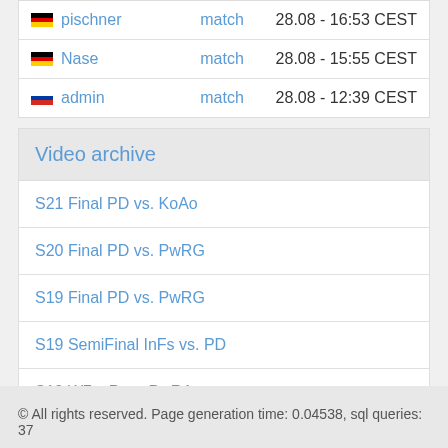| user | type | timestamp |
| --- | --- | --- |
| 🇩🇪 pischner | match | 28.08 - 16:53 CEST |
| 🇩🇪 Nase | match | 28.08 - 15:55 CEST |
| 🇷🇺 admin | match | 28.08 - 12:39 CEST |
Video archive
S21 Final PD vs. KoAo
S20 Final PD vs. PwRG
S19 Final PD vs. PwRG
S19 SemiFinal InFs vs. PD
S19 W7 tcP vs. PwRA
© All rights reserved. Page generation time: 0.04538, sql queries: 37